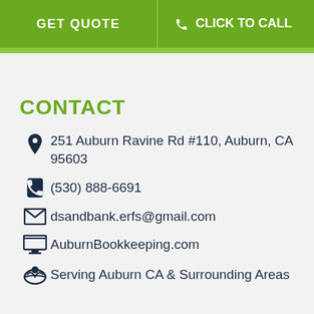GET QUOTE   CLICK TO CALL
CONTACT
251 Auburn Ravine Rd #110, Auburn, CA 95603
(530) 888-6691
dsandbank.erfs@gmail.com
AuburnBookkeeping.com
Serving Auburn CA & Surrounding Areas